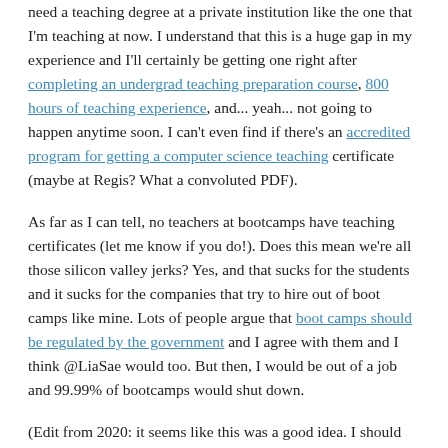need a teaching degree at a private institution like the one that I'm teaching at now. I understand that this is a huge gap in my experience and I'll certainly be getting one right after completing an undergrad teaching preparation course, 800 hours of teaching experience, and... yeah... not going to happen anytime soon. I can't even find if there's an accredited program for getting a computer science teaching certificate (maybe at Regis? What a convoluted PDF).
As far as I can tell, no teachers at bootcamps have teaching certificates (let me know if you do!). Does this mean we're all those silicon valley jerks? Yes, and that sucks for the students and it sucks for the companies that try to hire out of boot camps like mine. Lots of people argue that boot camps should be regulated by the government and I agree with them and I think @LiaSae would too. But then, I would be out of a job and 99.99% of bootcamps would shut down.
(Edit from 2020: it seems like this was a good idea. I should